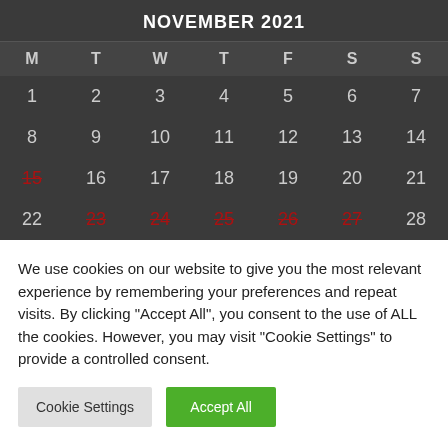NOVEMBER 2021
| M | T | W | T | F | S | S |
| --- | --- | --- | --- | --- | --- | --- |
| 1 | 2 | 3 | 4 | 5 | 6 | 7 |
| 8 | 9 | 10 | 11 | 12 | 13 | 14 |
| 15 | 16 | 17 | 18 | 19 | 20 | 21 |
| 22 | 23 | 24 | 25 | 26 | 27 | 28 |
We use cookies on our website to give you the most relevant experience by remembering your preferences and repeat visits. By clicking "Accept All", you consent to the use of ALL the cookies. However, you may visit "Cookie Settings" to provide a controlled consent.